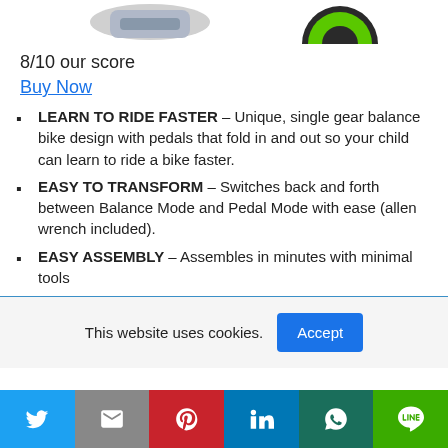[Figure (photo): Partial product images at top of page - bike wheel and shoe detail]
8/10 our score
Buy Now
LEARN TO RIDE FASTER – Unique, single gear balance bike design with pedals that fold in and out so your child can learn to ride a bike faster.
EASY TO TRANSFORM – Switches back and forth between Balance Mode and Pedal Mode with ease (allen wrench included).
EASY ASSEMBLY – Assembles in minutes with minimal tools
This website uses cookies.
[Figure (screenshot): Social share bar with Twitter, Gmail, Pinterest, LinkedIn, WhatsApp, and Line buttons]